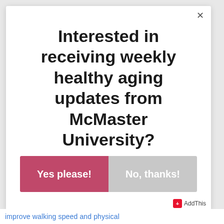Interested in receiving weekly healthy aging updates from McMaster University?
Yes please!
No, thanks!
improve walking speed and physical